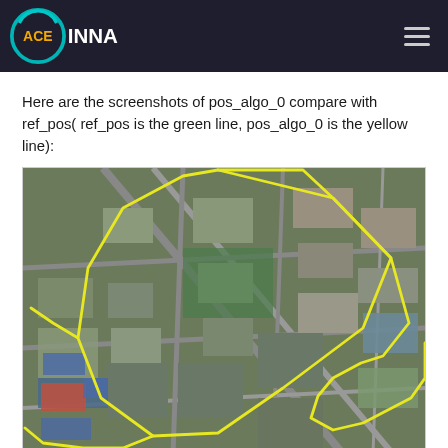ACEINNA
Here are the screenshots of pos_algo_0 compare with ref_pos( ref_pos is the green line, pos_algo_0 is the yellow line):
[Figure (map): Aerial/satellite map showing a route traced in yellow line overlaid on an urban industrial area. The yellow line forms a large irregular polygon route across the city blocks.]